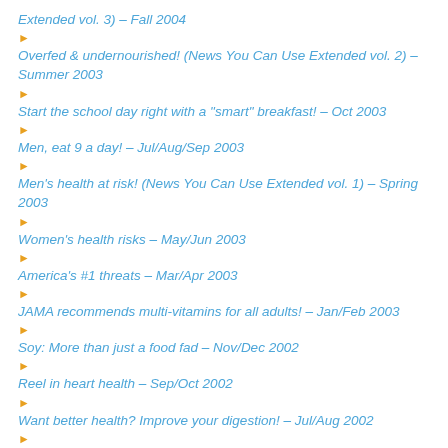Extended vol. 3) – Fall 2004
Overfed & undernourished! (News You Can Use Extended vol. 2) – Summer 2003
Start the school day right with a "smart" breakfast! – Oct 2003
Men, eat 9 a day! – Jul/Aug/Sep 2003
Men's health at risk! (News You Can Use Extended vol. 1) – Spring 2003
Women's health risks – May/Jun 2003
America's #1 threats – Mar/Apr 2003
JAMA recommends multi-vitamins for all adults! – Jan/Feb 2003
Soy: More than just a food fad – Nov/Dec 2002
Reel in heart health – Sep/Oct 2002
Want better health? Improve your digestion! – Jul/Aug 2002
What's happening to the scale? – May/Jun 2002